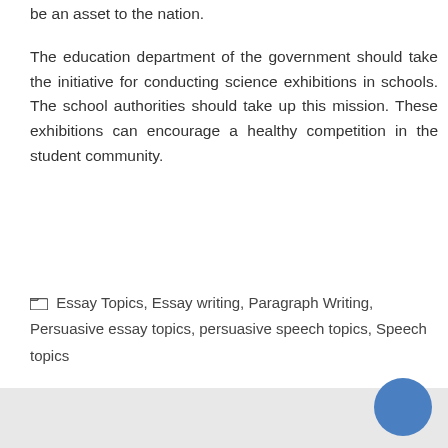be an asset to the nation. The education department of the government should take the initiative for conducting science exhibitions in schools. The school authorities should take up this mission. These exhibitions can encourage a healthy competition in the student community.
Essay Topics, Essay writing, Paragraph Writing, Persuasive essay topics, persuasive speech topics, Speech topics
Essay on SCHOOL YOUTH FESTIVAL
A FLOOD SCENE: Essay Topics